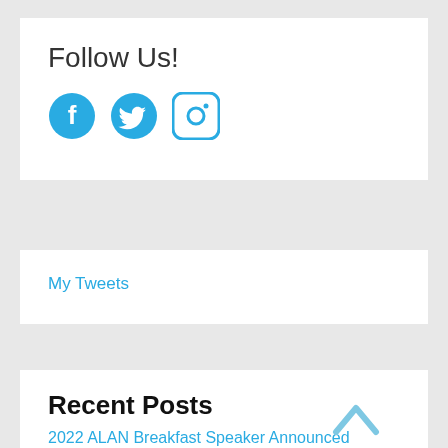Follow Us!
[Figure (illustration): Social media icons: Facebook (circle with f), Twitter (bird), Instagram (camera in rounded square), all in teal/cyan color]
My Tweets
Recent Posts
2022 ALAN Breakfast Speaker Announced